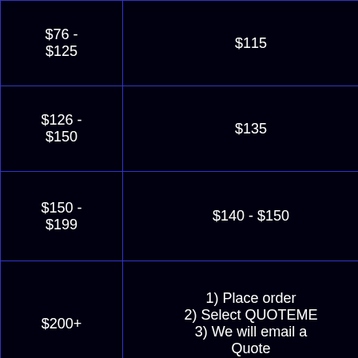| $76 - $125 | $115 |
| $126 - $150 | $135 |
| $150 - $199 | $140 - $150 |
| $200+ | 1) Place order
2) Select QUOTEME
3) We will email a Quote |
|  | Fed Ex to rest of Canada |